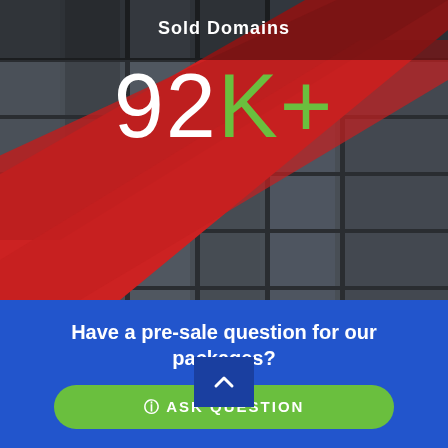[Figure (photo): Close-up photo of a modern building exterior with gray metal panels and red diagonal structural beams crossing the facade.]
Sold Domains
92K+
Have a pre-sale question for our packages?
ASK QUESTION